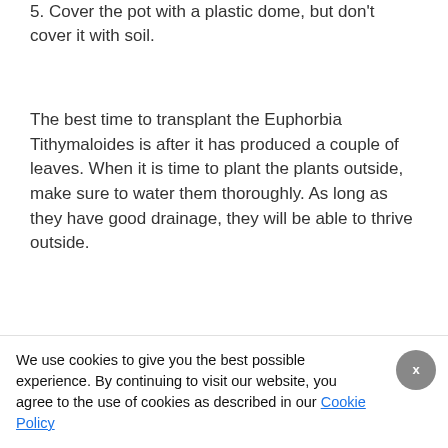5. Cover the pot with a plastic dome, but don't cover it with soil.
The best time to transplant the Euphorbia Tithymaloides is after it has produced a couple of leaves. When it is time to plant the plants outside, make sure to water them thoroughly. As long as they have good drainage, they will be able to thrive outside.
[Figure (photo): A close-up photograph of Euphorbia Tithymaloides plants with dark green leaves and pink flower buds.]
We use cookies to give you the best possible experience. By continuing to visit our website, you agree to the use of cookies as described in our Cookie Policy